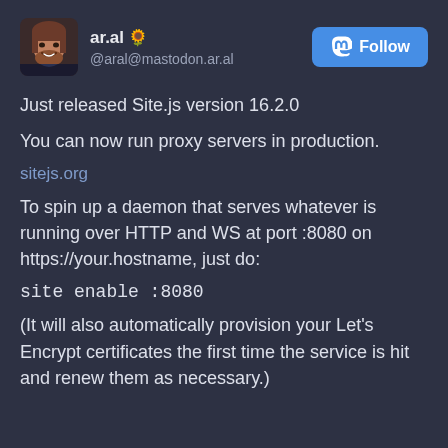[Figure (illustration): Avatar photo of a man smiling, rounded square crop]
ar.al 🌻 @aral@mastodon.ar.al
Follow (Mastodon button)
Just released Site.js version 16.2.0
You can now run proxy servers in production.
sitejs.org
To spin up a daemon that serves whatever is running over HTTP and WS at port :8080 on https://your.hostname, just do:
site enable :8080
(It will also automatically provision your Let's Encrypt certificates the first time the service is hit and renew them as necessary.)